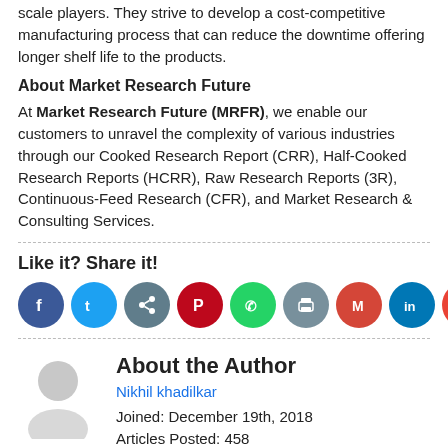scale players. They strive to develop a cost-competitive manufacturing process that can reduce the downtime offering longer shelf life to the products.
About Market Research Future
At Market Research Future (MRFR), we enable our customers to unravel the complexity of various industries through our Cooked Research Report (CRR), Half-Cooked Research Reports (HCRR), Raw Research Reports (3R), Continuous-Feed Research (CFR), and Market Research & Consulting Services.
Like it? Share it!
[Figure (infographic): Row of social media share icons: Facebook, Twitter, Share/Email, Pinterest, WhatsApp, Print, Gmail, LinkedIn, Google, More(+)]
About the Author
Nikhil khadilkar
Joined: December 19th, 2018
Articles Posted: 458